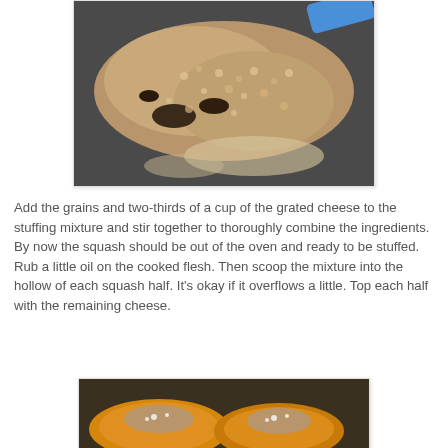[Figure (photo): Close-up photo of a grain and mushroom stuffing mixture on a dark baking tray, with a blue spatula visible at the top right.]
Add the grains and two-thirds of a cup of the grated cheese to the stuffing mixture and stir together to thoroughly combine the ingredients. By now the squash should be out of the oven and ready to be stuffed. Rub a little oil on the cooked flesh. Then scoop the mixture into the hollow of each squash half. It's okay if it overflows a little. Top each half with the remaining cheese.
[Figure (photo): Photo of stuffed squash halves on a plate, showing the orange squash flesh filled with the grain and cheese mixture.]